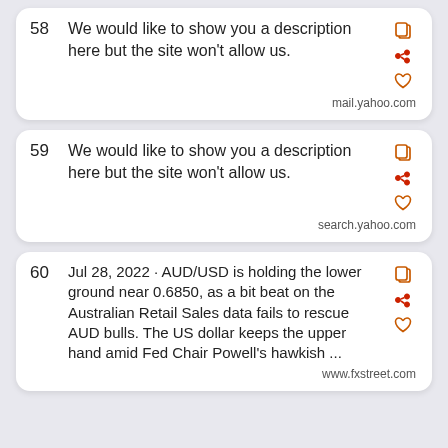58  We would like to show you a description here but the site won't allow us.  mail.yahoo.com
59  We would like to show you a description here but the site won't allow us.  search.yahoo.com
60  Jul 28, 2022 · AUD/USD is holding the lower ground near 0.6850, as a bit beat on the Australian Retail Sales data fails to rescue AUD bulls. The US dollar keeps the upper hand amid Fed Chair Powell's hawkish ...  www.fxstreet.com